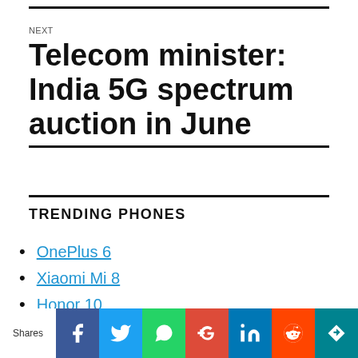NEXT
Telecom minister: India 5G spectrum auction in June
TRENDING PHONES
OnePlus 6
Xiaomi Mi 8
Honor 10
Samsung Galaxy S9